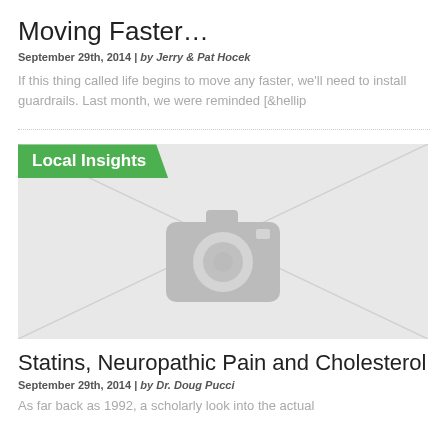Moving Faster…
September 29th, 2014 | by Jerry & Pat Hocek
If this thing called life begins to move any faster, we'll need to install guardrails. Last month, we were reminded [&hellip
[Figure (photo): Placeholder image with Local Insights category label and a camera icon on a light grey background]
Statins, Neuropathic Pain and Cholesterol
September 29th, 2014 | by Dr. Doug Pucci
As far back as 1992, a scholarly look into the actual